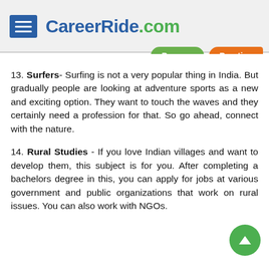CareerRide.com — Prepare | Practice
13. Surfers- Surfing is not a very popular thing in India. But gradually people are looking at adventure sports as a new and exciting option. They want to touch the waves and they certainly need a profession for that. So go ahead, connect with the nature.
14. Rural Studies - If you love Indian villages and want to develop them, this subject is for you. After completing a bachelors degree in this, you can apply for jobs at various government and public organizations that work on rural issues. You can also work with NGOs.